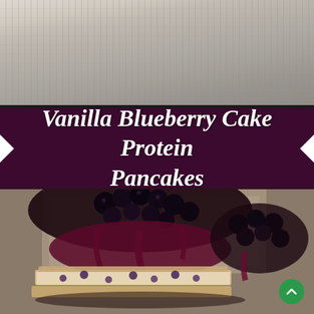[Figure (photo): Top portion of photo showing a wooden/burlap textured background in muted tan and gray tones, partially visible before the title band]
Vanilla Blueberry Cake Protein Pancakes
[Figure (photo): Close-up food photography of blueberry protein pancakes stacked and topped with a thick dark blueberry sauce and whole blueberries; pancake interior visible showing blueberry-studded batter; second stack visible in background on wooden surface. Website watermark: www.ProteinTreatsB]